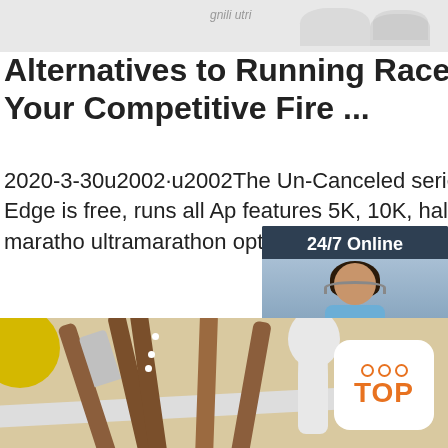[Figure (photo): Faded top header image area with gray shapes and faint text]
Alternatives to Running Races - Fuel Your Competitive Fire ...
2020-3-30u2002·u2002The Un-Canceled series by Run the Edge is free, runs all Ap features 5K, 10K, half marathon, maratho ultramarathon options. Virtual Run ...
[Figure (photo): Advertisement box with dark blue background, woman wearing headset, '24/7 Online' header, 'Click here for free chat!' text, orange QUOTATION button]
[Figure (other): Orange 'Get Price' button]
•
[Figure (photo): Bottom photo strip showing kitchen tools including wooden-handled spatulas, a knife, a white spoon, and a yellow object on the left. White spoon with TOP badge in orange on the right.]